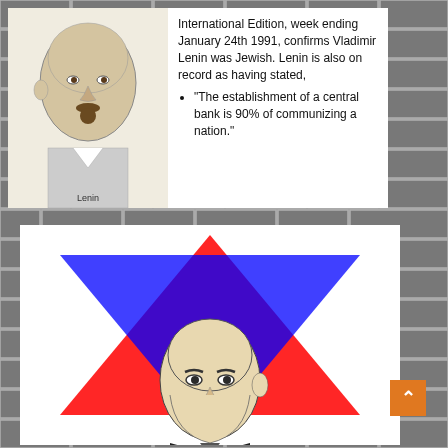[Figure (illustration): Stone brick wall background covering entire page]
[Figure (illustration): White card with portrait drawing of Vladimir Lenin on left side, labeled 'Lenin' at bottom]
International Edition, week ending January 24th 1991, confirms Vladimir Lenin was Jewish. Lenin is also on record as having stated,
“The establishment of a central bank is 90% of communizing a nation.”
[Figure (illustration): White card with large red and blue Star of David overlaid with a portrait illustration of a bald man looking downward]